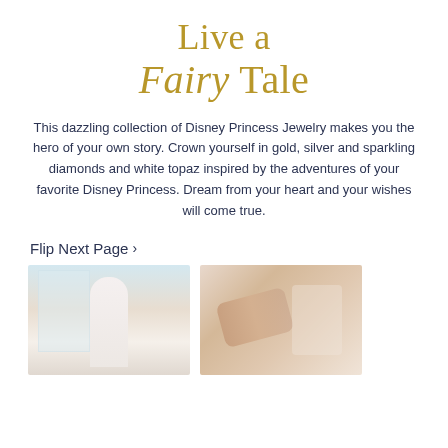Live a Fairy Tale
This dazzling collection of Disney Princess Jewelry makes you the hero of your own story. Crown yourself in gold, silver and sparkling diamonds and white topaz inspired by the adventures of your favorite Disney Princess. Dream from your heart and your wishes will come true.
Flip Next Page ›
[Figure (photo): Woman in a white ball gown standing in a bright elegant room with large windows]
[Figure (photo): Close-up of a hand with a ring resting on white fabric, with jewelry visible near the neckline]